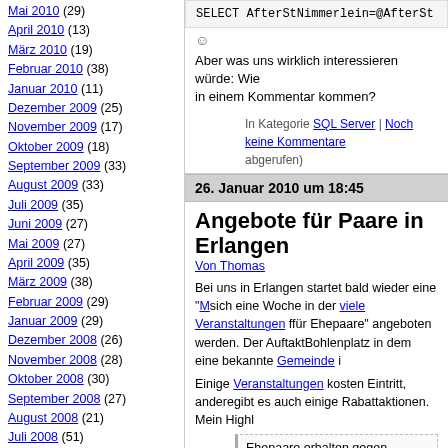Mai 2010 (29)
April 2010 (13)
März 2010 (19)
Februar 2010 (38)
Januar 2010 (11)
Dezember 2009 (25)
November 2009 (17)
Oktober 2009 (18)
September 2009 (33)
August 2009 (33)
Juli 2009 (35)
Juni 2009 (27)
Mai 2009 (27)
April 2009 (35)
März 2009 (38)
Februar 2009 (29)
Januar 2009 (29)
Dezember 2008 (26)
November 2008 (28)
Oktober 2008 (30)
September 2008 (27)
August 2008 (21)
Juli 2008 (51)
Juni 2008 (35)
Mai 2008 (41)
April 2008 (30)
März 2008 (38)
SELECT AfterStNimmerlein=@AfterSt
☺
Aber was uns wirklich interessieren würde: Wie in einem Kommentar kommen?
In Kategorie SQL Server | Noch keine Kommentare abgerufen)
26. Januar 2010 um 18:45
Angebote für Paare in Erlangen
Von Thomas
Bei uns in Erlangen startet bald wieder eine "M sich eine Woche in der viele Veranstaltungen f für Ehepaare" angeboten werden. Der Auftakt Bohlenplatz in dem eine bekannte Gemeinde i
Einige Veranstaltungen kosten Eintritt, andere gibt es auch einige Rabattaktionen. Mein Highl
Ehepaare erhalten gegen Vorlage d bis 10 Ehejahren 10 %, bei 11 bis 2